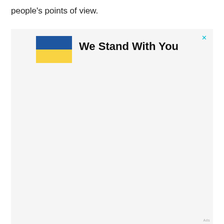people's points of view.
[Figure (other): Advertisement banner with Ukrainian flag image (blue and yellow rectangles) and bold text 'We Stand With You', with a cyan close (x) button in the top right corner.]
Ads